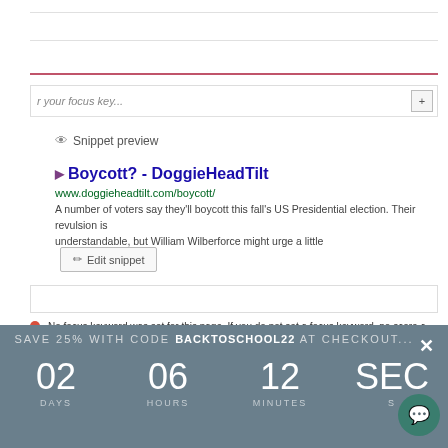[Figure (screenshot): Screenshot of a WordPress/Yoast SEO plugin interface showing focus keyword input, snippet preview section with a Google search result preview for 'Boycott? - DoggieHeadTilt', URL www.doggieheadtilt.com/boycott/, and meta description text. Below is an Edit snippet button.]
No focus keyword was set for this page. If you do not set a focus keyword, no score c
No meta description has been specified, search engines will display copy from the pa
No images appear in this page, consider adding some as appropriate.
The page title is too short. Use the space to add keyword variations or create compell
SAVE 25% WITH CODE BACKTOSCHOOL22 AT CHECKOUT...
02 DAYS  06 HOURS  12 MINUTES  SECONDS